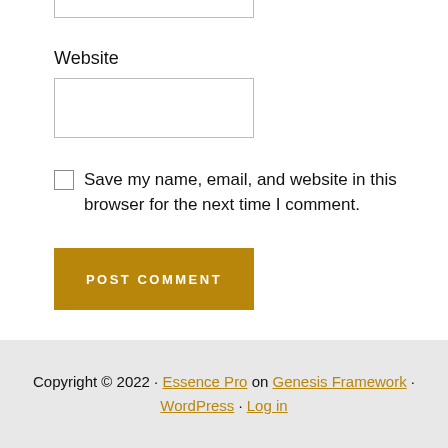Website
Save my name, email, and website in this browser for the next time I comment.
POST COMMENT
Copyright © 2022 · Essence Pro on Genesis Framework · WordPress · Log in